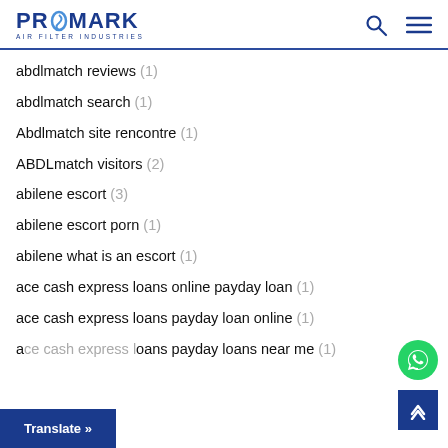PROMARK AIR FILTER INDUSTRIES
abdlmatch reviews (1)
abdlmatch search (1)
Abdlmatch site rencontre (1)
ABDLmatch visitors (2)
abilene escort (3)
abilene escort porn (1)
abilene what is an escort (1)
ace cash express loans online payday loan (1)
ace cash express loans payday loan online (1)
ace cash express loans payday loans near me (1)